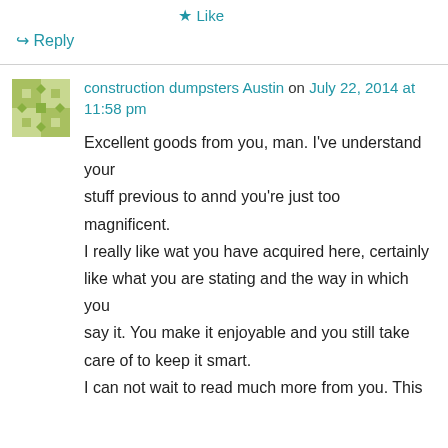★ Like
↳ Reply
construction dumpsters Austin on July 22, 2014 at 11:58 pm
Excellent goods from you, man. I've understand your stuff previous to annd you're just too magnificent. I really like wat you have acquired here, certainly like what you are stating and the way in which you say it. You make it enjoyable and you still take care of to keep it smart. I can not wait to read much more from you. This